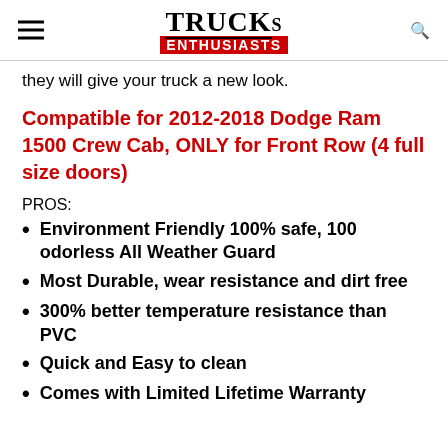TRUCKs ENTHUSIASTS
they will give your truck a new look.
Compatible for 2012-2018 Dodge Ram 1500 Crew Cab, ONLY for Front Row (4 full size doors)
PROS:
Environment Friendly 100% safe, 100 odorless All Weather Guard
Most Durable, wear resistance and dirt free
300% better temperature resistance than PVC
Quick and Easy to clean
Comes with Limited Lifetime Warranty